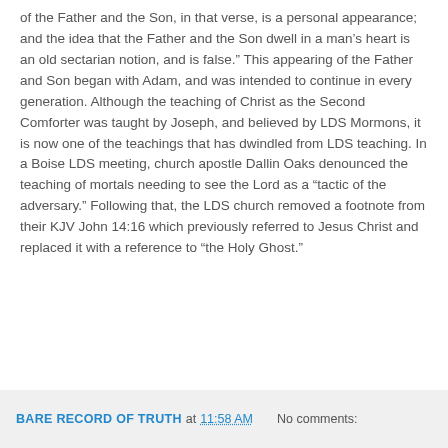of the Father and the Son, in that verse, is a personal appearance; and the idea that the Father and the Son dwell in a man's heart is an old sectarian notion, and is false.” This appearing of the Father and Son began with Adam, and was intended to continue in every generation. Although the teaching of Christ as the Second Comforter was taught by Joseph, and believed by LDS Mormons, it is now one of the teachings that has dwindled from LDS teaching. In a Boise LDS meeting, church apostle Dallin Oaks denounced the teaching of mortals needing to see the Lord as a “tactic of the adversary.” Following that, the LDS church removed a footnote from their KJV John 14:16 which previously referred to Jesus Christ and replaced it with a reference to “the Holy Ghost.”
BARE RECORD OF TRUTH at 11:58 AM   No comments: